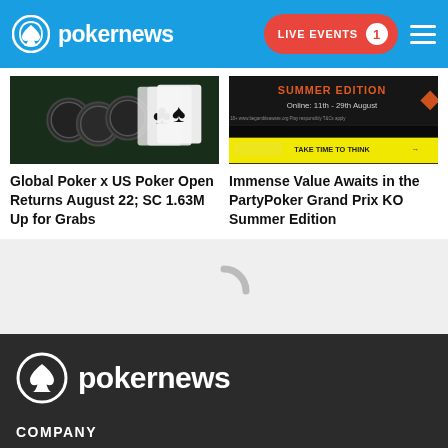pokernews — LIVE EVENTS 1
[Figure (photo): Poker chips and playing cards on a green felt table]
Global Poker x US Poker Open Returns August 22; SC 1.63M Up for Grabs
[Figure (photo): PartyPoker Grand Prix KO Summer Edition banner — Online: 11th - 29th August]
Immense Value Awaits in the PartyPoker Grand Prix KO Summer Edition
[Figure (other): Loading spinner / grey loading placeholder]
pokernews — COMPANY